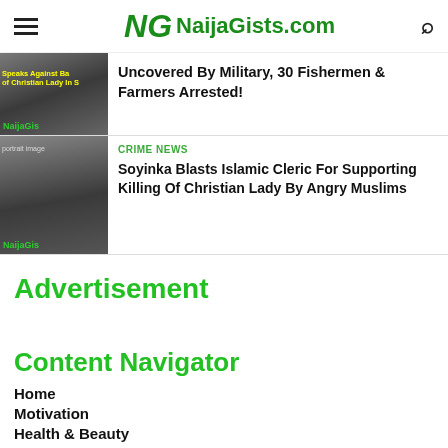NaijaGists.com
Uncovered By Military, 30 Fishermen & Farmers Arrested!
CRIME NEWS
Soyinka Blasts Islamic Cleric For Supporting Killing Of Christian Lady By Angry Muslims
Advertisement
Content Navigator
Home
Motivation
Health & Beauty
Opinions
All Markets